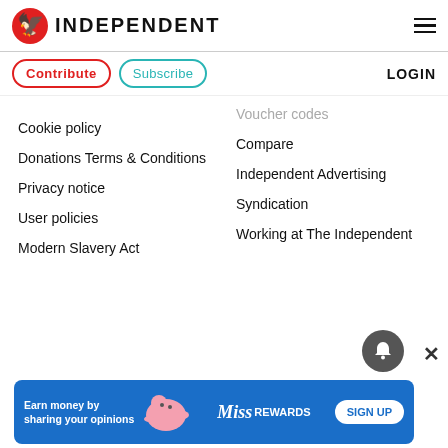INDEPENDENT
Contribute
Subscribe
LOGIN
Voucher codes
Cookie policy
Compare
Donations Terms & Conditions
Independent Advertising
Privacy notice
Syndication
User policies
Working at The Independent
Modern Slavery Act
[Figure (screenshot): Advertisement banner: Earn money by sharing your opinions - Miss Rewards SIGN UP]